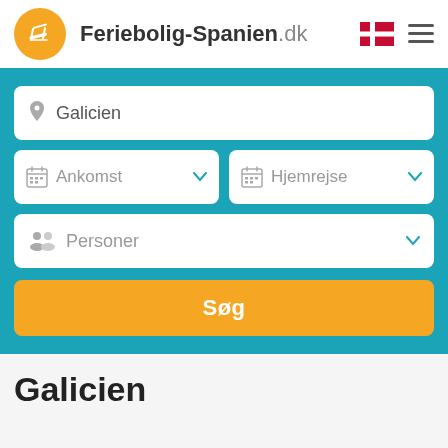[Figure (logo): Feriebolig-Spanien.dk logo with orange circle containing a beach chair icon, brand name, Danish flag, and hamburger menu]
[Figure (screenshot): Search form with teal background containing location field 'Galicien', Ankomst and Hjemrejse date dropdowns, Personer persons dropdown, and orange Søg search button]
Galicien